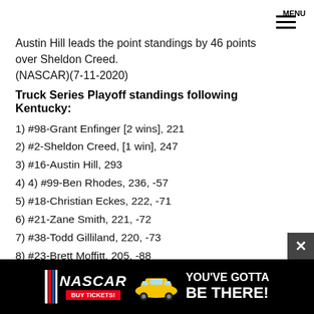MENU
Austin Hill leads the point standings by 46 points over Sheldon Creed.
(NASCAR)(7-11-2020)
Truck Series Playoff standings following Kentucky:
1) #98-Grant Enfinger [2 wins], 221
2) #2-Sheldon Creed, [1 win], 247
3) #16-Austin Hill, 293
4) 4) #99-Ben Rhodes, 236, -57
5) #18-Christian Eckes, 222, -71
6) #21-Zane Smith, 221, -72
7) #38-Todd Gilliland, 220, -73
8) #23-Brett Moffitt, 205, -88
9) #26-Tyler Ankrum, 201, -92
[Figure (infographic): NASCAR advertisement banner: NASCAR logo with 'BUY TICKETS!' button, race car graphic, and text 'YOU'VE GOTTA BE THERE!']